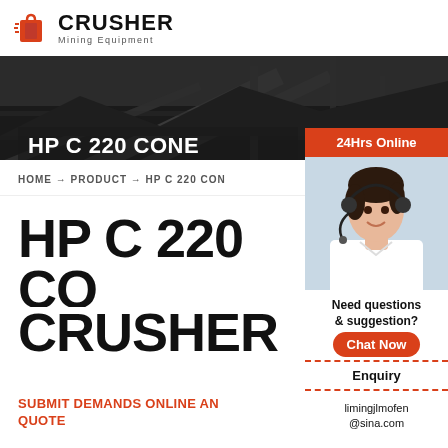[Figure (logo): Crusher Mining Equipment logo with red shopping bag icon and bold CRUSHER text]
[Figure (photo): Hero banner with dark industrial crusher/conveyor machinery background]
HP C 220 CONE CRUSHER
24Hrs Online
HOME → PRODUCT → HP C 220 CON
[Figure (photo): Customer service representative with headset smiling]
Need questions & suggestion?
Chat Now
Enquiry
limingjlmofen@sina.com
HP C 220 CONE CRUSHER
SUBMIT DEMANDS ONLINE AND GET THE LATEST QUOTE